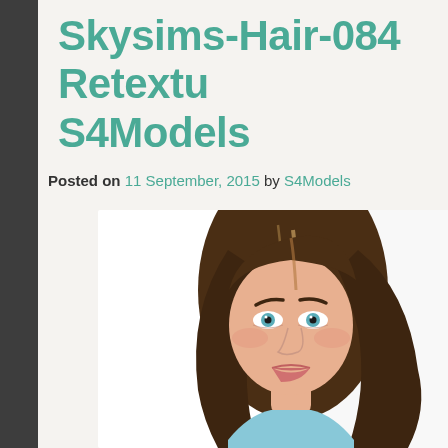Skysims-Hair-084 Retextu S4Models
Posted on 11 September, 2015 by S4Models
[Figure (illustration): A Sims 4 female character with long brown wavy hair with highlights, blue eyes, and fair skin, shown from shoulders up against a white/light background. The character is wearing a light blue top.]